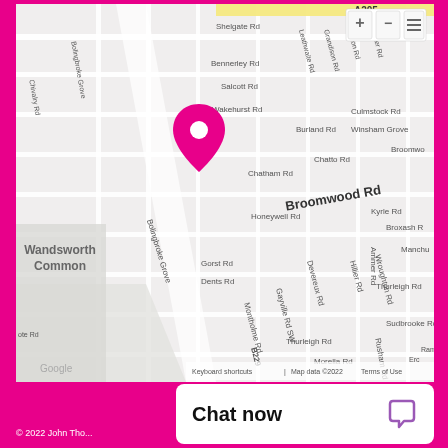[Figure (map): Google Maps showing Wandsworth Common area in London, with a pink/magenta location pin marker, street names including Broomwood Rd, Chatham Rd, Honeywell Rd, Bolingbroke Grove, Shelgate Rd, Bennerley Rd, Wakehurst Rd, Burland Rd, Chatto Rd, and others. Map controls (+/-/menu) visible top right. Google logo bottom left. Map data ©2022 attribution at bottom.]
Chat now
© 2022 John Tho...